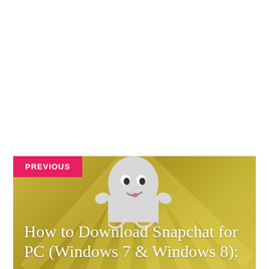[Figure (screenshot): A web page navigation card with a gold/olive background featuring sunburst rays and a Snapchat ghost mascot illustration. A red 'PREVIOUS' badge appears in the top-left corner. The card shows text 'How to Download Snapchat for PC (Windows 7 & Windows 8):' in white serif font.]
PREVIOUS
How to Download Snapchat for PC (Windows 7 & Windows 8):